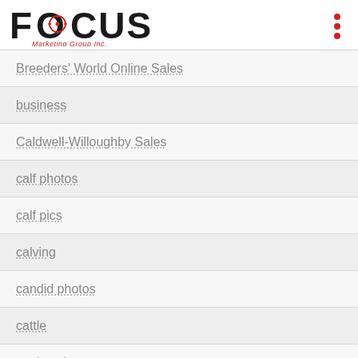[Figure (logo): FOCUS Marketing Group Inc. logo with crosshair O and red italic subtitle, plus red three-dot menu icon on the right]
Breeders' World Online Sales
business
Caldwell-Willoughby Sales
calf photos
calf pics
calving
candid photos
cattle
cattle sales